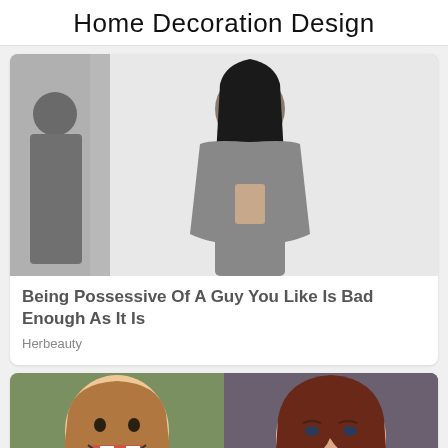Home Decoration Design
[Figure (photo): A young woman with long dark hair wearing a grey open jacket and grey pants, standing in front of a white wall. A reflection or shadow visible on the left.]
Being Possessive Of A Guy You Like Is Bad Enough As It Is
Herbeauty
[Figure (photo): Two side-by-side photos: left shows a young girl laughing with missing front teeth and light brown hair; right shows a teenage girl with long auburn hair and blue eyes looking at camera.]